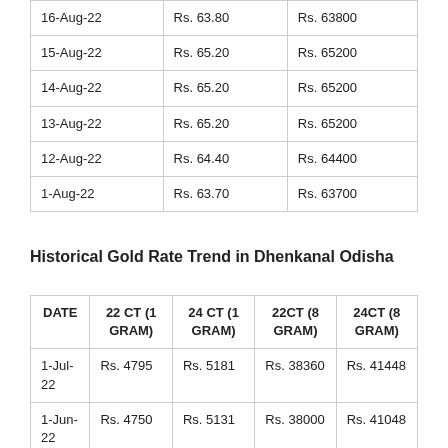|  |  |  |
| --- | --- | --- |
| 16-Aug-22 | Rs. 63.80 | Rs. 63800 |
| 15-Aug-22 | Rs. 65.20 | Rs. 65200 |
| 14-Aug-22 | Rs. 65.20 | Rs. 65200 |
| 13-Aug-22 | Rs. 65.20 | Rs. 65200 |
| 12-Aug-22 | Rs. 64.40 | Rs. 64400 |
| 1-Aug-22 | Rs. 63.70 | Rs. 63700 |
Historical Gold Rate Trend in Dhenkanal Odisha
| DATE | 22 CT (1 GRAM) | 24 CT (1 GRAM) | 22CT (8 GRAM) | 24CT (8 GRAM) |
| --- | --- | --- | --- | --- |
| 1-Jul-22 | Rs. 4795 | Rs. 5181 | Rs. 38360 | Rs. 41448 |
| 1-Jun-22 | Rs. 4750 | Rs. 5131 | Rs. 38000 | Rs. 41048 |
| 1-May-22 | Rs. 4850 | Rs. 5296 | Rs. 38800 | Rs. 42368 |